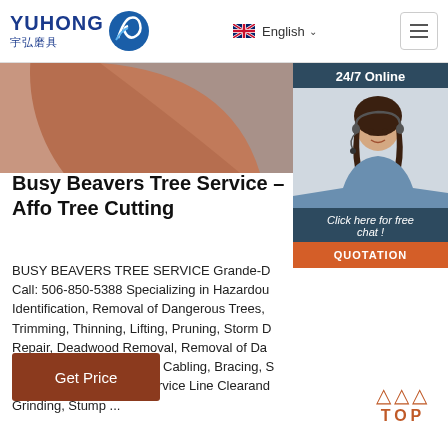YUHONG 宇弘磨具 | English
[Figure (photo): Partial circle/disc image in terracotta red and blue-grey tones, cropped at top of content area]
[Figure (photo): 24/7 Online chat widget with photo of smiling woman with headset, blue-grey background panel, 'Click here for free chat!' text and orange QUOTATION button]
Busy Beavers Tree Service – Affo Tree Cutting
BUSY BEAVERS TREE SERVICE Grande-D Call: 506-850-5388 Specializing in Hazardou Identification, Removal of Dangerous Trees, Trimming, Thinning, Lifting, Pruning, Storm D Repair, Deadwood Removal, Removal of Da Diseased Trees or Limbs, Cabling, Bracing, S Cutting, and Electrical Service Line Clearand Grinding, Stump ...
Get Price
TOP